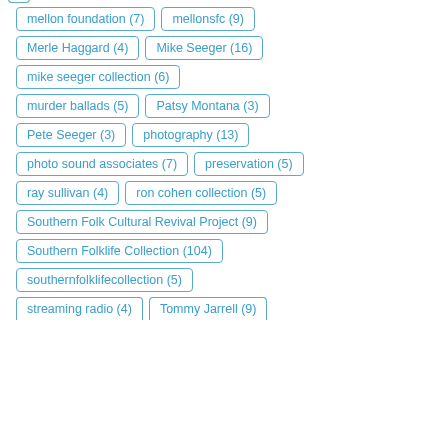mellon foundation (7)
mellonsfc (9)
Merle Haggard (4)
Mike Seeger (16)
mike seeger collection (6)
murder ballads (5)
Patsy Montana (3)
Pete Seeger (3)
photography (13)
photo sound associates (7)
preservation (5)
ray sullivan (4)
ron cohen collection (5)
Southern Folk Cultural Revival Project (9)
Southern Folklife Collection (104)
southernfolklifecollection (5)
streaming radio (4)
Tommy Jarrell (9)